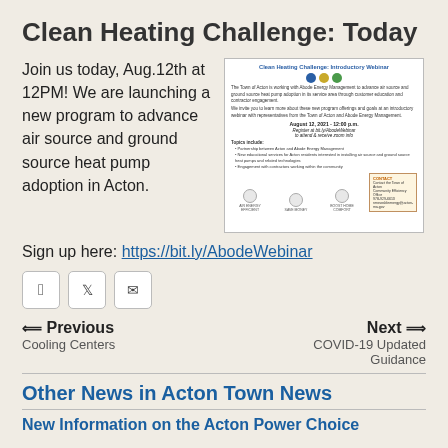Clean Heating Challenge: Today
Join us today, Aug.12th at 12PM! We are launching a new program to advance air source and ground source heat pump adoption in Acton.
[Figure (screenshot): Clean Heating Challenge: Introductory Webinar flyer with logos, date August 12 2021 12:00 p.m., registration link bit.ly/AbodeWebinar, topics list, and contact info.]
Sign up here: https://bit.ly/AbodeWebinar
[Figure (infographic): Social sharing buttons: Facebook, Twitter, Email]
← Previous
Cooling Centers
Next ⇒
COVID-19 Updated Guidance
Other News in Acton Town News
New Information on the Acton Power Choice